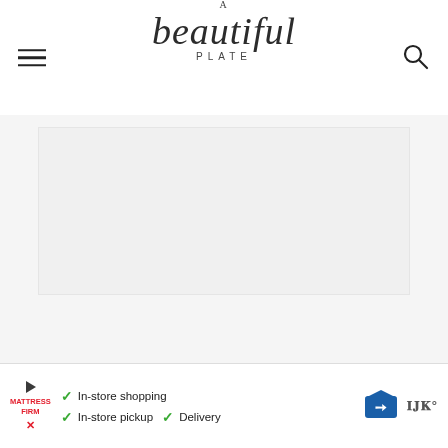A beautiful plate
[Figure (photo): Large light gray placeholder image area representing a food photo on A Beautiful Plate website]
[Figure (infographic): Advertisement banner for Mattress Firm with checklist: In-store shopping, In-store pickup, Delivery; with directional sign icon and WW logo]